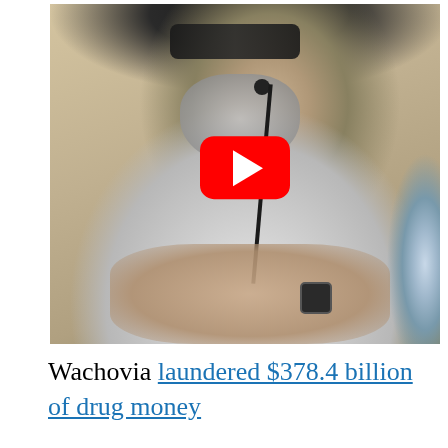[Figure (screenshot): A YouTube video thumbnail showing an older bearded man wearing sunglasses and a white shirt, sitting at a table with a microphone and water bottle. A red YouTube play button overlay is visible in the center of the image.]
Wachovia laundered $378.4 billion of drug money